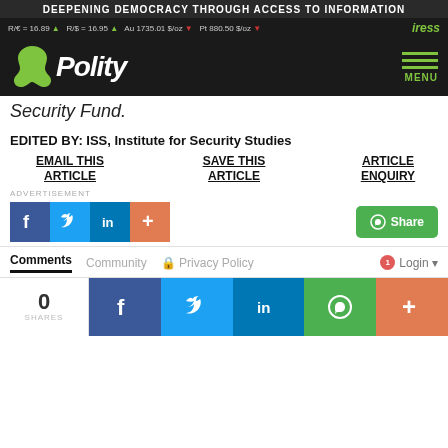DEEPENING DEMOCRACY THROUGH ACCESS TO INFORMATION
R/€ = 16.89 ▲  R/$ = 16.95 ▲  Au 1735.01 $/oz ▼  Pt 880.50 $/oz ▼  iress
[Figure (logo): Polity website logo with Africa outline graphic and hamburger menu icon]
Security Fund.
EDITED BY: ISS, Institute for Security Studies
EMAIL THIS ARTICLE
SAVE THIS ARTICLE
ARTICLE ENQUIRY
ADVERTISEMENT
[Figure (infographic): Social sharing buttons: Facebook, Twitter, LinkedIn, plus button, and WhatsApp Share button]
Comments  Community  Privacy Policy  Login
[Figure (infographic): Bottom sharing bar showing 0 SHARES and social media icons: Facebook, Twitter, LinkedIn, WhatsApp, Plus]